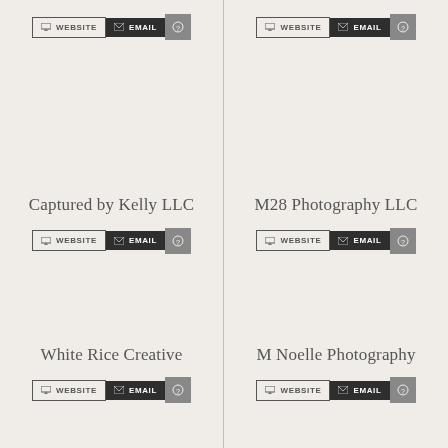WEBSITE | EMAIL
WEBSITE | EMAIL
Captured by Kelly LLC
M28 Photography LLC
WEBSITE | EMAIL
WEBSITE | EMAIL
QRamone Media
Colette Marie Photography
WEBSITE | EMAIL
WEBSITE | EMAIL
White Rice Creative
M Noelle Photography
WEBSITE | EMAIL
WEBSITE | EMAIL